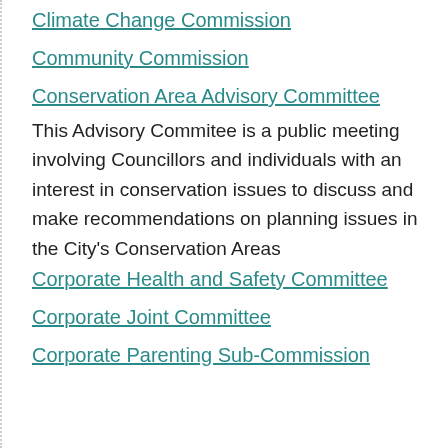Climate Change Commission
Community Commission
Conservation Area Advisory Committee
This Advisory Commitee is a public meeting involving Councillors and individuals with an interest in conservation issues to discuss and make recommendations on planning issues in the City's Conservation Areas
Corporate Health and Safety Committee
Corporate Joint Committee
Corporate Parenting Sub-Commission